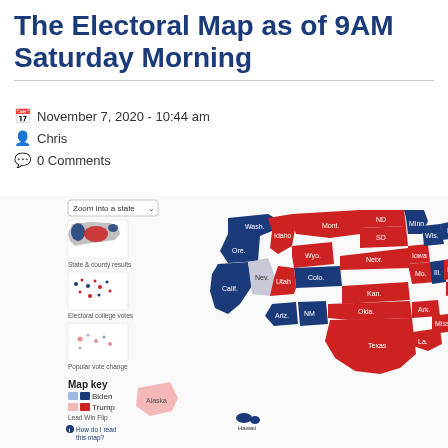The Electoral Map as of 9AM Saturday Morning
November 7, 2020 - 10:44 am
Chris
0 Comments
[Figure (map): US Electoral map showing Biden (blue) and Trump (red) state results as of November 7, 2020 9AM Saturday Morning. Includes state labels, small inset maps for state & county results, electoral college votes, popular vote change, and a map key showing Biden (blue shades) and Trump (red shades) with Lead, Win, Flip indicators.]